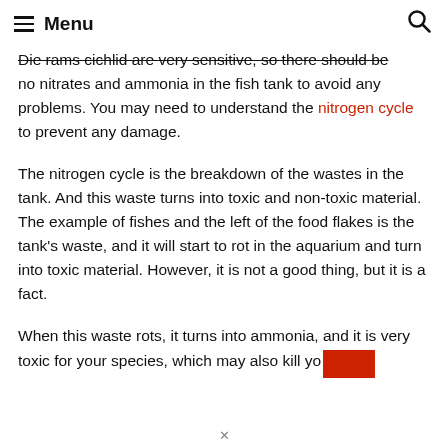Menu
Die rams cichlid are very sensitive, so there should be no nitrates and ammonia in the fish tank to avoid any problems. You may need to understand the nitrogen cycle to prevent any damage.
The nitrogen cycle is the breakdown of the wastes in the tank. And this waste turns into toxic and non-toxic material. The example of fishes and the left of the food flakes is the tank's waste, and it will start to rot in the aquarium and turn into toxic material. However, it is not a good thing, but it is a fact.
When this waste rots, it turns into ammonia, and it is very toxic for your species, which may also kill yo...